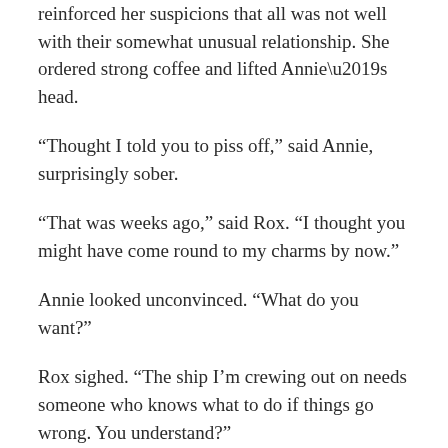reinforced her suspicions that all was not well with their somewhat unusual relationship. She ordered strong coffee and lifted Annie’s head.
“Thought I told you to piss off,” said Annie, surprisingly sober.
“That was weeks ago,” said Rox. “I thought you might have come round to my charms by now.”
Annie looked unconvinced. “What do you want?”
Rox sighed. “The ship I’m crewing out on needs someone who knows what to do if things go wrong. You understand?”
“Why me?”
“Because you’re more than qualified and I’m